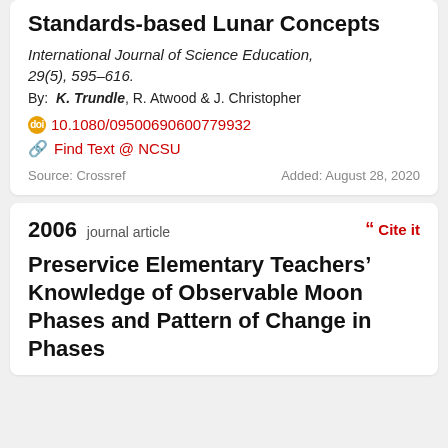Standards-based Lunar Concepts
International Journal of Science Education, 29(5), 595–616.
By: K. Trundle, R. Atwood & J. Christopher
10.1080/09500690600779932
Find Text @ NCSU
Source: Crossref    Added: August 28, 2020
2006 journal article
Preservice Elementary Teachers' Knowledge of Observable Moon Phases and Pattern of Change in Phases